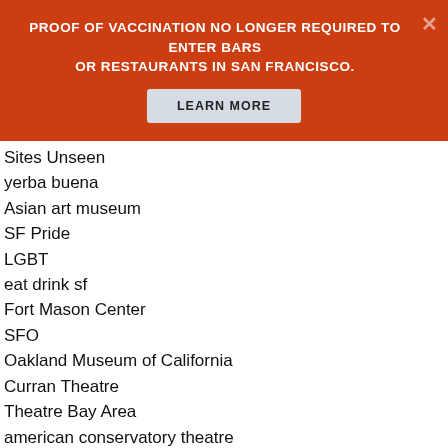PROOF OF VACCINATION NO LONGER REQUIRED TO ENTER BARS OR RESTAURANTS IN SAN FRANCISCO.
LEARN MORE
Sites Unseen
yerba buena
Asian art museum
SF Pride
LGBT
eat drink sf
Fort Mason Center
SFO
Oakland Museum of California
Curran Theatre
Theatre Bay Area
american conservatory theatre
Magic Theatre
Golden Thread Production
moscone center